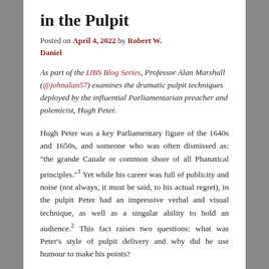in the Pulpit
Posted on April 4, 2022 by Robert W. Daniel
As part of the IJBS Blog Series, Professor Alan Marshall (@johnalan57) examines the dramatic pulpit techniques deployed by the influential Parliamentarian preacher and polemicist, Hugh Peter.
Hugh Peter was a key Parliamentary figure of the 1640s and 1650s, and someone who was often dismissed as: “the grande Canale or common shore of all Phanatical principles.”¹ Yet while his career was full of publicity and noise (not always, it must be said, to his actual regret), in the pulpit Peter had an impressive verbal and visual technique, as well as a singular ability to hold an audience.² This fact raises two questions: what was Peter’s style of pulpit delivery and why did he use humour to make his points?